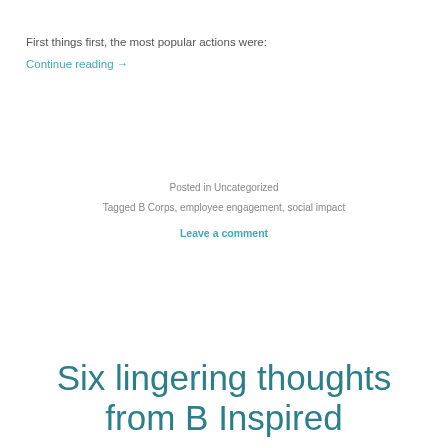First things first, the most popular actions were:
Continue reading →
Posted in Uncategorized
Tagged B Corps, employee engagement, social impact
Leave a comment
Six lingering thoughts from B Inspired